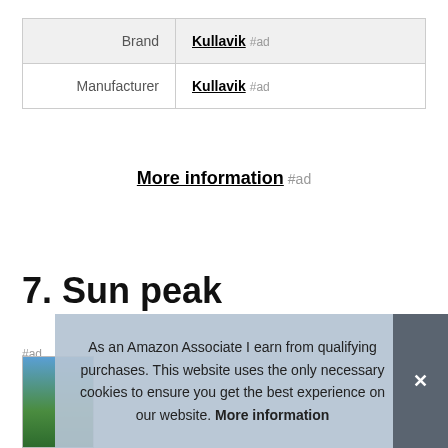|  |  |
| --- | --- |
| Brand | Kullavik #ad |
| Manufacturer | Kullavik #ad |
More information #ad
7. Sun peak
#ad
[Figure (photo): Partial view of a mountain/landscape photo with blue sky and green terrain]
As an Amazon Associate I earn from qualifying purchases. This website uses the only necessary cookies to ensure you get the best experience on our website. More information